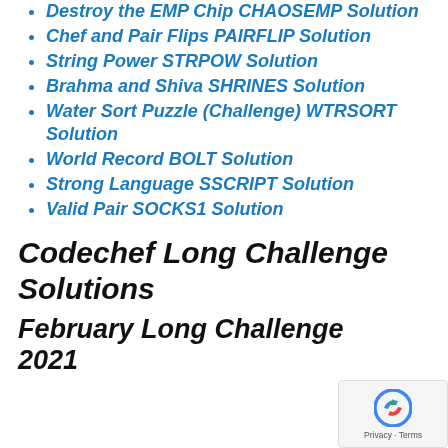Destroy the EMP Chip CHAOSEMP Solution
Chef and Pair Flips PAIRFLIP Solution
String Power STRPOW Solution
Brahma and Shiva SHRINES Solution
Water Sort Puzzle (Challenge) WTRSORT Solution
World Record BOLT Solution
Strong Language SSCRIPT Solution
Valid Pair SOCKS1 Solution
Codechef Long Challenge Solutions
February Long Challenge 2021